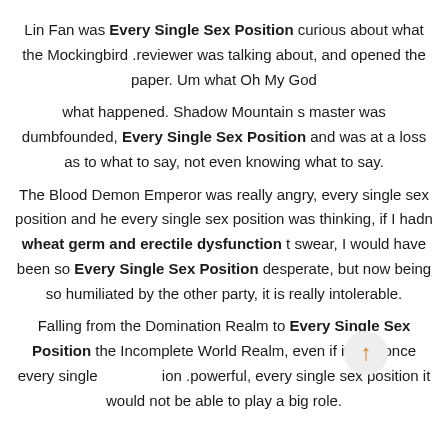Lin Fan was Every Single Sex Position curious about what the Mockingbird .reviewer was talking about, and opened the paper. Um what Oh My God
what happened. Shadow Mountain s master was dumbfounded, Every Single Sex Position and was at a loss as to what to say, not even knowing what to say.
The Blood Demon Emperor was really angry, every single sex position and he every single sex position was thinking, if I hadn wheat germ and erectile dysfunction t swear, I would have been so Every Single Sex Position desperate, but now being so humiliated by the other party, it is really intolerable.
Falling from the Domination Realm to Every Single Sex Position the Incomplete World Realm, even if it was once every single sex position powerful, every single sex position it would not be able to play a big role.